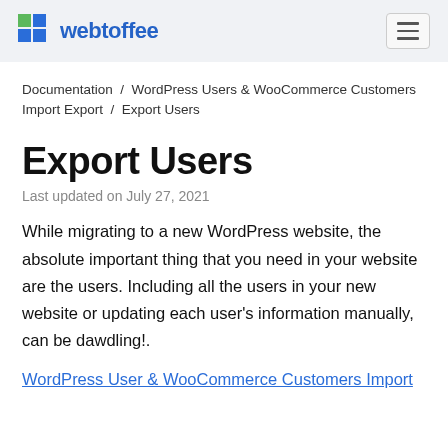webtoffee
Documentation / WordPress Users & WooCommerce Customers Import Export / Export Users
Export Users
Last updated on July 27, 2021
While migrating to a new WordPress website, the absolute important thing that you need in your website are the users. Including all the users in your new website or updating each user's information manually, can be dawdling!.
WordPress User & WooCommerce Customers Import